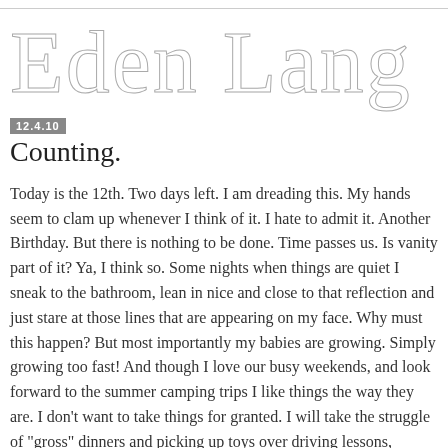Eden Lang
12.4.10
Counting.
Today is the 12th. Two days left. I am dreading this. My hands seem to clam up whenever I think of it. I hate to admit it. Another Birthday. But there is nothing to be done. Time passes us. Is vanity part of it? Ya, I think so. Some nights when things are quiet I sneak to the bathroom, lean in nice and close to that reflection and just stare at those lines that are appearing on my face. Why must this happen? But most importantly my babies are growing. Simply growing too fast! And though I love our busy weekends, and look forward to the summer camping trips I like things the way they are. I don't want to take things for granted. I will take the struggle of "gross" dinners and picking up toys over driving lessons,